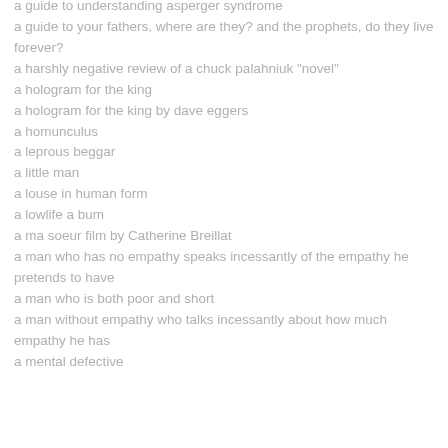a guide to understanding asperger syndrome
a guide to your fathers, where are they? and the prophets, do they live forever?
a harshly negative review of a chuck palahniuk "novel"
a hologram for the king
a hologram for the king by dave eggers
a homunculus
a leprous beggar
a little man
a louse in human form
a lowlife a bum
a ma soeur film by Catherine Breillat
a man who has no empathy speaks incessantly of the empathy he pretends to have
a man who is both poor and short
a man without empathy who talks incessantly about how much empathy he has
a mental defective